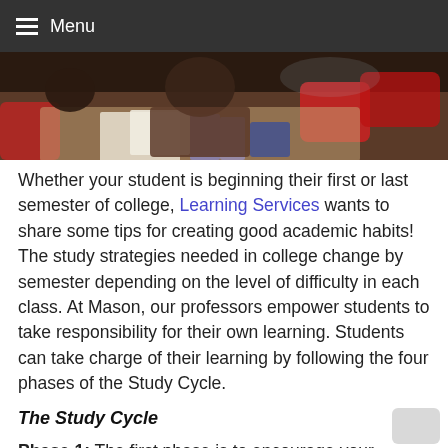Menu
[Figure (photo): Students studying in a classroom setting, seen from above, with red chairs and papers on desks.]
Whether your student is beginning their first or last semester of college, Learning Services wants to share some tips for creating good academic habits! The study strategies needed in college change by semester depending on the level of difficulty in each class. At Mason, our professors empower students to take responsibility for their own learning. Students can take charge of their learning by following the four phases of the Study Cycle.
The Study Cycle
Phase 1: The first phase is to encourage your student to preview the material to be covered in class, before class. The professor will provide students with a